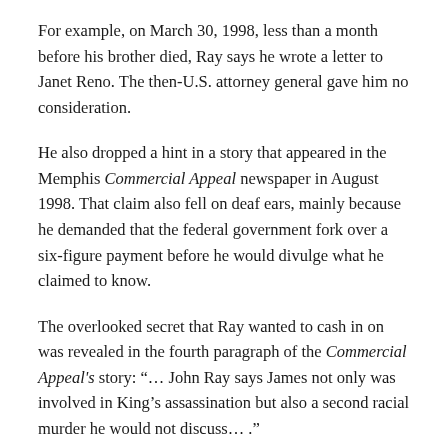For example, on March 30, 1998, less than a month before his brother died, Ray says he wrote a letter to Janet Reno. The then-U.S. attorney general gave him no consideration.
He also dropped a hint in a story that appeared in the Memphis Commercial Appeal newspaper in August 1998. That claim also fell on deaf ears, mainly because he demanded that the federal government fork over a six-figure payment before he would divulge what he claimed to know.
The overlooked secret that Ray wanted to cash in on was revealed in the fourth paragraph of the Commercial Appeal's story: “… John Ray says James not only was involved in King’s assassination but also a second racial murder he would not discuss… .”
Later, Ray says, he spoke quietly with a Justice Department lawyer with no strings attached. His words still went unheeded.